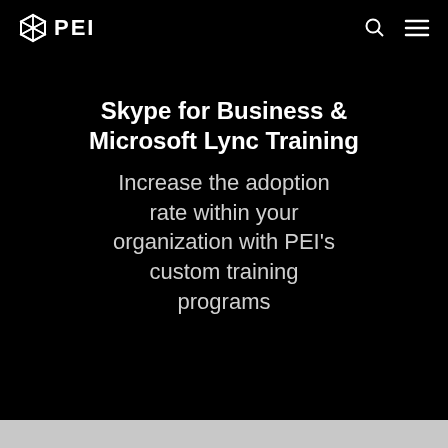PEI
Skype for Business & Microsoft Lync Training
Increase the adoption rate within your organization with PEI's custom training programs